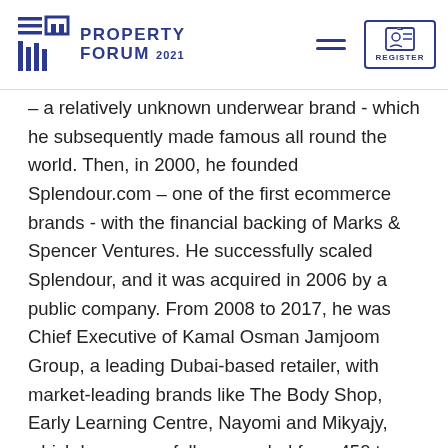PROPERTY FORUM 2021
– a relatively unknown underwear brand - which he subsequently made famous all round the world. Then, in 2000, he founded Splendour.com – one of the first ecommerce brands - with the financial backing of Marks & Spencer Ventures. He successfully scaled Splendour, and it was acquired in 2006 by a public company. From 2008 to 2017, he was Chief Executive of Kamal Osman Jamjoom Group, a leading Dubai-based retailer, with market-leading brands like The Body Shop, Early Learning Centre, Nayomi and Mikyajy, which he successfully expanded from 450 to 850 stores. He then became